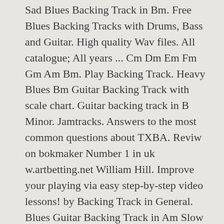Sad Blues Backing Track in Bm. Free Blues Backing Tracks with Drums, Bass and Guitar. High quality Wav files. All catalogue; All years ... Cm Dm Em Fm Gm Am Bm. Play Backing Track. Heavy Blues Bm Guitar Backing Track with scale chart. Guitar backing track in B Minor. Jamtracks. Answers to the most common questions about TXBA. Reviw on bokmaker Number 1 in uk w.artbetting.net William Hill. Improve your playing via easy step-by-step video lessons! by Backing Track in General. Blues Guitar Backing Track in Am Slow Jam Track #189. 0:00 / 14:28. 22.08.2020 fimsad4 Leave a comment . New. 3:28. Jun 12, 2018 - Explore derek travers's board "blues backing track" on Pinterest. Blues Rock . 150 . From the